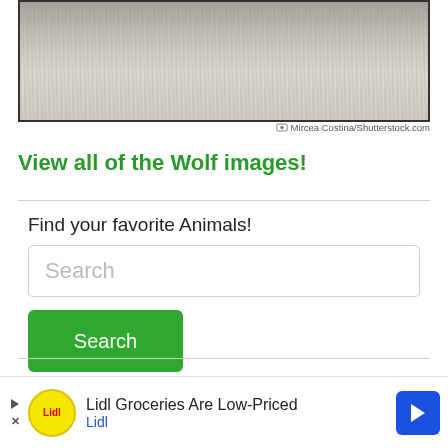[Figure (photo): Close-up photo of wolf fur, gray and white tones, cropped at top]
© Mircea Costina/Shutterstock.com
View all of the Wolf images!
Find your favorite Animals!
Search
Search
"Wolves are apex predators that travel in packs
Lidl Groceries Are Low-Priced
Lidl